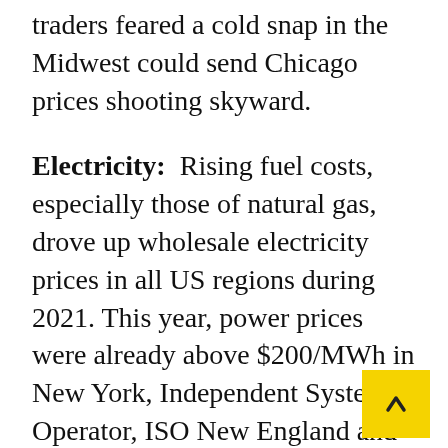traders feared a cold snap in the Midwest could send Chicago prices shooting skyward.
Electricity: Rising fuel costs, especially those of natural gas, drove up wholesale electricity prices in all US regions during 2021. This year, power prices were already above $200/MWh in New York, Independent System Operator, ISO New England and eastern PJM Interconnection territory on Jan. 7 as a storm dropped several inches of snow and cooler weather expected over the next week could lead to an extended period of elevated prices.